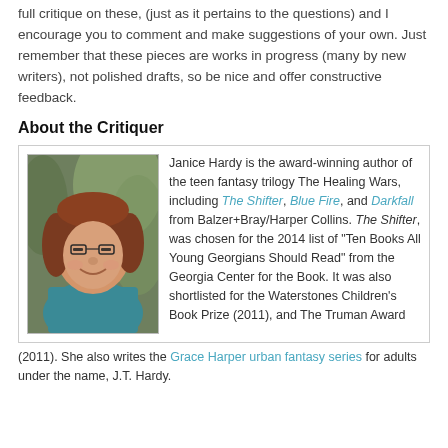full critique on these, (just as it pertains to the questions) and I encourage you to comment and make suggestions of your own. Just remember that these pieces are works in progress (many by new writers), not polished drafts, so be nice and offer constructive feedback.
About the Critiquer
Janice Hardy is the award-winning author of the teen fantasy trilogy The Healing Wars, including The Shifter, Blue Fire, and Darkfall from Balzer+Bray/Harper Collins. The Shifter, was chosen for the 2014 list of "Ten Books All Young Georgians Should Read" from the Georgia Center for the Book. It was also shortlisted for the Waterstones Children's Book Prize (2011), and The Truman Award (2011). She also writes the Grace Harper urban fantasy series for adults under the name, J.T. Hardy.
[Figure (photo): Portrait photo of Janice Hardy, a woman with reddish-brown hair and glasses, wearing a teal sweater, smiling, with a blurred outdoor background.]